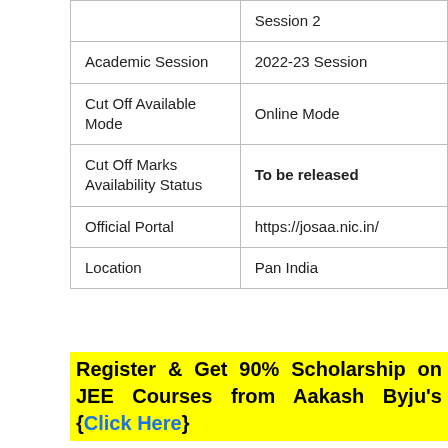|  |  |
| --- | --- |
|  | Session 2 |
| Academic Session | 2022-23 Session |
| Cut Off Available Mode | Online Mode |
| Cut Off Marks Availability Status | To be released |
| Official Portal | https://josaa.nic.in/ |
| Location | Pan India |
Register & Get 90% Scholarship on JEE Courses from Aakash Byju's {Click Here}